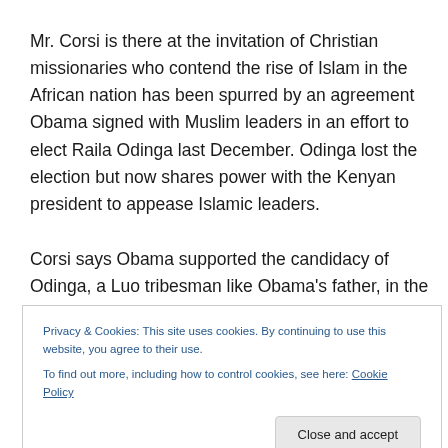Mr. Corsi is there at the invitation of Christian missionaries who contend the rise of Islam in the African nation has been spurred by an agreement Obama signed with Muslim leaders in an effort to elect Raila Odinga last December. Odinga lost the election but now shares power with the Kenyan president to appease Islamic leaders.
Corsi says Obama supported the candidacy of Odinga, a Luo tribesman like Obama's father, in the 2007 Kenyan presidential election, opposing current president Mwai
Privacy & Cookies: This site uses cookies. By continuing to use this website, you agree to their use.
To find out more, including how to control cookies, see here: Cookie Policy
Close and accept
everyone you know from now and up to the show